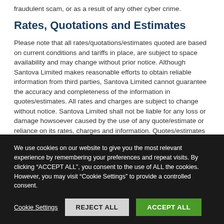fraudulent scam, or as a result of any other cyber crime.
Rates, Quotations and Estimates
Please note that all rates/quotations/estimates quoted are based on current conditions and tariffs in place, are subject to space availability and may change without prior notice. Although Santova Limited makes reasonable efforts to obtain reliable information from third parties, Santova Limited cannot guarantee the accuracy and completeness of the information in quotes/estimates. All rates and charges are subject to change without notice. Santova Limited shall not be liable for any loss or damage howsoever caused by the use of any quote/estimate or reliance on its rates, charges and information. Quotes/estimates and all business is conducted strictly in terms of the Santova Limited Standard Terms of Contract, a copy of which is available on request. E&EO.
We use cookies on our website to give you the most relevant experience by remembering your preferences and repeat visits. By clicking "ACCEPT ALL", you consent to the use of ALL the cookies. However, you may visit "Cookie Settings" to provide a controlled consent.